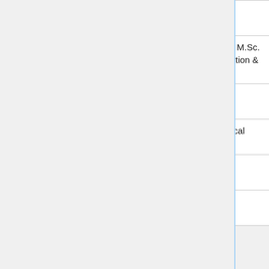| # | Date | Topic | Materials |
| --- | --- | --- | --- |
| 8 | 2018-12-13 | Thermostats, Barostats | Lecture Notes |
| 9 | 2018-12-20 | Error analysis, B.Sc. / M.Sc. thesis @ ICP: information & research topics | Slides |
| 10 | 2019-01-10 | Monte-Carlo Method | Lecture Notes |
| 11 | 2019-01-17 | Monte-Carlo and Critical Phenomena | Lecture Notes |
| 12 | 2019-01-24 | Critical Exponent | Lecture Notes |
| 13 | 2019-01-31 | Finite Size Scaling | Lecture Notes |